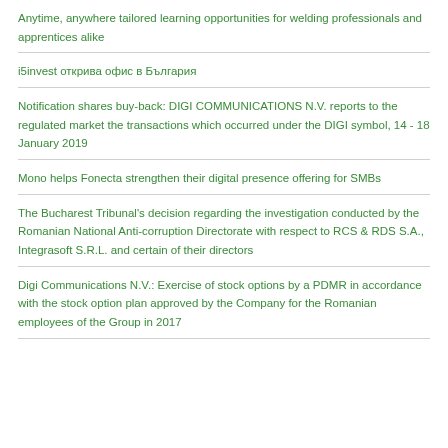Anytime, anywhere tailored learning opportunities for welding professionals and apprentices alike
i5invest открива офис в България
Notification shares buy-back: DIGI COMMUNICATIONS N.V. reports to the regulated market the transactions which occurred under the DIGI symbol, 14 - 18 January 2019
Mono helps Fonecta strengthen their digital presence offering for SMBs
The Bucharest Tribunal's decision regarding the investigation conducted by the Romanian National Anti-corruption Directorate with respect to RCS & RDS S.A., Integrasoft S.R.L. and certain of their directors
Digi Communications N.V.: Exercise of stock options by a PDMR in accordance with the stock option plan approved by the Company for the Romanian employees of the Group in 2017